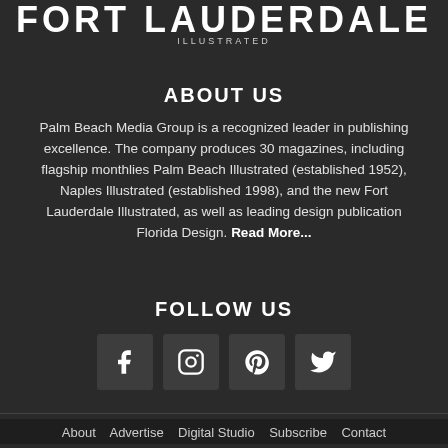FORT LAUDERDALE ILLUSTRATED
ABOUT US
Palm Beach Media Group is a recognized leader in publishing excellence. The company produces 30 magazines, including flagship monthlies Palm Beach Illustrated (established 1952), Naples Illustrated (established 1998), and the new Fort Lauderdale Illustrated, as well as leading design publication Florida Design. Read More...
FOLLOW US
[Figure (infographic): Four social media icon buttons: Facebook (f), Instagram (camera), Pinterest (P), Twitter (bird)]
About  Advertise  Digital Studio  Subscribe  Contact